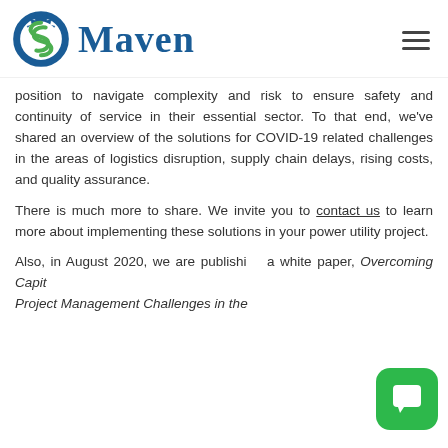Maven
position to navigate complexity and risk to ensure safety and continuity of service in their essential sector. To that end, we've shared an overview of the solutions for COVID-19 related challenges in the areas of logistics disruption, supply chain delays, rising costs, and quality assurance.
There is much more to share. We invite you to contact us to learn more about implementing these solutions in your power utility project.
Also, in August 2020, we are publishing a white paper, Overcoming Capital Project Management Challenges in the